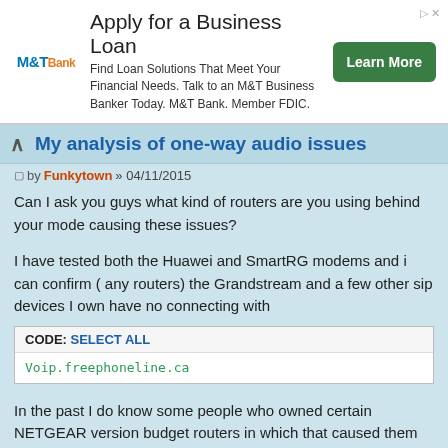[Figure (screenshot): M&T Bank advertisement banner: Apply for a Business Loan. Find Loan Solutions That Meet Your Financial Needs. Talk to an M&T Business Banker Today. M&T Bank. Member FDIC. Learn More button.]
My analysis of one-way audio issues
by Funkytown » 04/11/2015
Can I ask you guys what kind of routers are you using behind your mode causing these issues?
I have tested both the Huawei and SmartRG modems and i can confirm ( any routers) the Grandstream and a few other sip devices I own have no connecting with
CODE: SELECT ALL
Voip.freephoneline.ca
In the past I do know some people who owned certain NETGEAR version budget routers in which that caused them several problems, until they rea they decided to swap to something higher quality name brand router ther sip and wireless issues vanished.